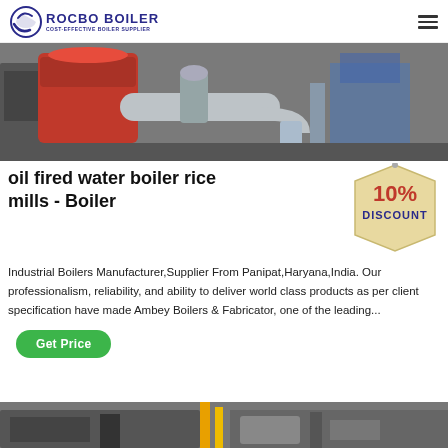ROCBO BOILER - COST-EFFECTIVE BOILER SUPPLIER
[Figure (photo): Industrial oil fired water boiler with metallic pipes and red casing in a factory setting]
oil fired water boiler rice mills - Boiler
[Figure (illustration): 10% DISCOUNT badge/sticker graphic in red and blue text on beige tag shape]
Industrial Boilers Manufacturer,Supplier From Panipat,Haryana,India. Our professionalism, reliability, and ability to deliver world class products as per client specification have made Ambey Boilers & Fabricator, one of the leading...
[Figure (photo): Partial bottom image of industrial boiler equipment]